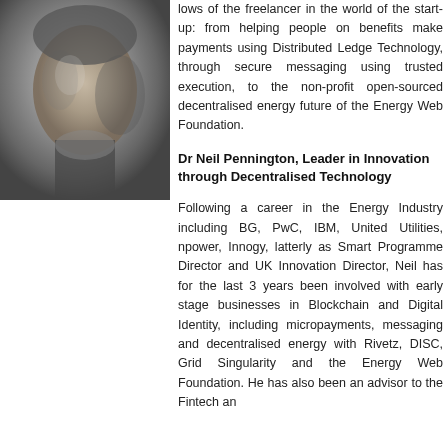[Figure (photo): Black and white portrait photo of a man, cropped to show face and upper body]
lows of the freelancer in the world of the start-up: from helping people on benefits make payments using Distributed Ledge Technology, through secure messaging using trusted execution, to the non-profit open-sourced decentralised energy future of the Energy Web Foundation.
Dr Neil Pennington, Leader in Innovation through Decentralised Technology
Following a career in the Energy Industry including BG, PwC, IBM, United Utilities, npower, Innogy, latterly as Smart Programme Director and UK Innovation Director, Neil has for the last 3 years been involved with early stage businesses in Blockchain and Digital Identity, including micropayments, messaging and decentralised energy with Rivetz, DISC, Grid Singularity and the Energy Web Foundation. He has also been an advisor to the Fintech an